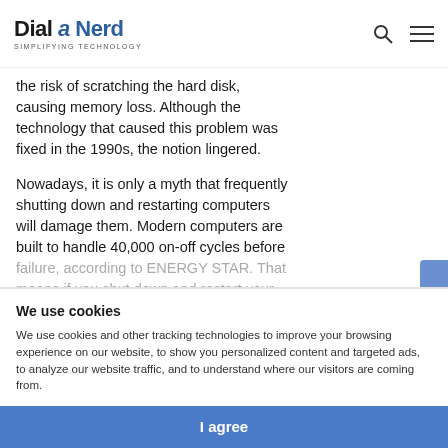Dial a Nerd SIMPLIFYING TECHNOLOGY
the risk of scratching the hard disk, causing memory loss. Although the technology that caused this problem was fixed in the 1990s, the notion lingered.
Nowadays, it is only a myth that frequently shutting down and restarting computers will damage them. Modern computers are built to handle 40,000 on-off cycles before failure, according to ENERGY STAR. That means if you shut down and restart your computer once a day every day, you won't
3. You Always Need to Use a
We use cookies
We use cookies and other tracking technologies to improve your browsing experience on our website, to show you personalized content and targeted ads, to analyze our website traffic, and to understand where our visitors are coming from.
I agree